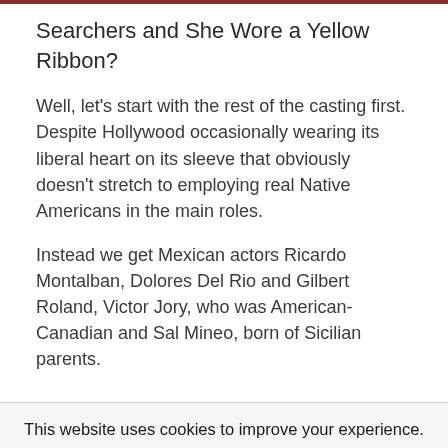Searchers and She Wore a Yellow Ribbon?
Well, let's start with the rest of the casting first. Despite Hollywood occasionally wearing its liberal heart on its sleeve that obviously doesn't stretch to employing real Native Americans in the main roles.
Instead we get Mexican actors Ricardo Montalban, Dolores Del Rio and Gilbert Roland, Victor Jory, who was American-Canadian and Sal Mineo, born of Sicilian parents.
This website uses cookies to improve your experience. We'll assume you're ok with this, but you can opt-out if you wish. Accept Reject Read More